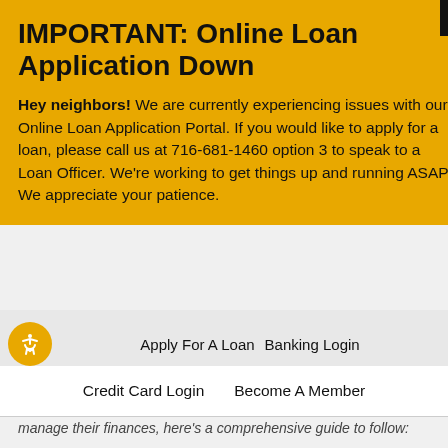IMPORTANT: Online Loan Application Down
Hey neighbors! We are currently experiencing issues with our Online Loan Application Portal. If you would like to apply for a loan, please call us at 716-681-1460 option 3 to speak to a Loan Officer. We're working to get things up and running ASAP. We appreciate your patience.
Apply For A Loan   Banking Login
Credit Card Login   Become A Member
manage their finances, here's a comprehensive guide to follow:
Why It Matters
Why exactly should you teach your kids about money? Well, below are several reasons.